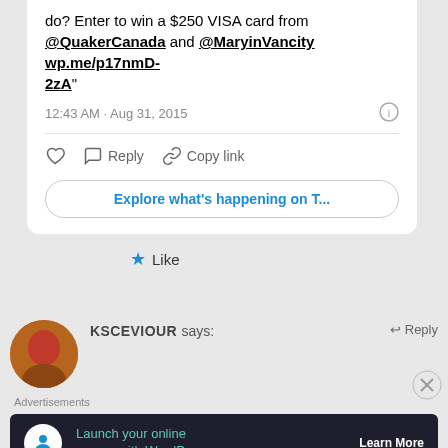do? Enter to win a $250 VISA card from @QuakerCanada and @MaryinVancity wp.me/p17nmD-2zA"
12:43 AM · Aug 31, 2015
Like   Reply   Copy link
Explore what's happening on T...
★ Like
KSCEVIOUR says:   ↵ Reply
Advertisements
Launch your online course with WordPress  Learn More